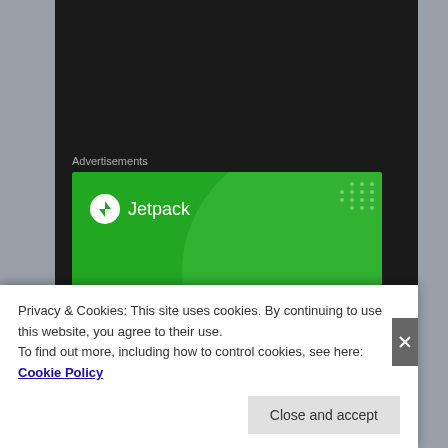Advertisements
[Figure (screenshot): Jetpack advertisement banner with green background showing Jetpack logo and text 'We guard your WordPress site.']
Jim Benning also did the seemingly impossible by locking down Christopher Tanev for five more seasons much to
Privacy & Cookies: This site uses cookies. By continuing to use this website, you agree to their use.
To find out more, including how to control cookies, see here: Cookie Policy
Close and accept